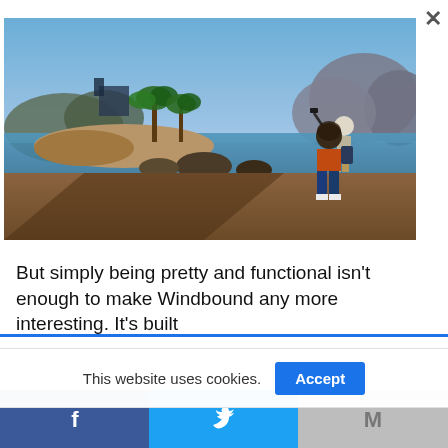[Figure (screenshot): Video game screenshot showing two animated characters standing on a rocky cliff overlooking an island with palm trees and mountains in the background, blue sky and water visible. One character holds a weapon/staff.]
But simply being pretty and functional isn't enough to make Windbound any more interesting. It's built
This website uses cookies.
Accept
[Figure (other): Social share bar with Facebook, Twitter, and email/M icons]